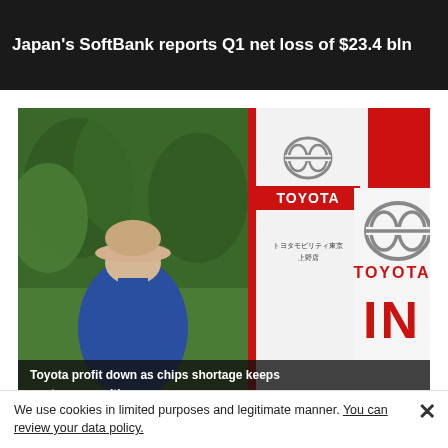Japan's SoftBank reports Q1 net loss of $23.4 bln
[Figure (photo): A person wearing a bucket hat and blue jacket seen from behind, looking at Toyota dealership signage featuring the Toyota logo and red lettering, with trees visible in the background.]
Toyota profit down as chips shortage keeps customers waiting
We use cookies in limited purposes and legitimate manner. You can review your data policy.